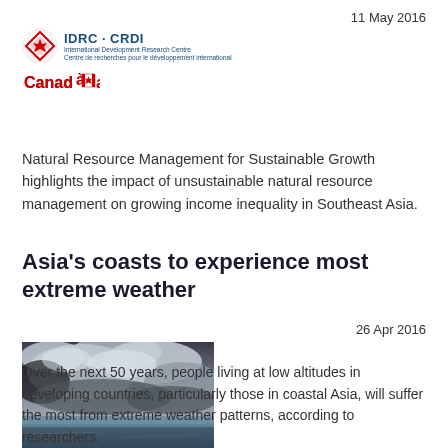11 May 2016
[Figure (logo): IDRC CRDI International Development Research Centre logo with Canadian flag maple leaf symbol, and Canada wordmark below]
Natural Resource Management for Sustainable Growth highlights the impact of unsustainable natural resource management on growing income inequality in Southeast Asia.
Asia's coasts to experience most extreme weather
26 Apr 2016
[Figure (photo): Photo of stormy coastal scene with dramatic dark clouds over a grey-blue sea]
Over the next 50 years, people living at low altitudes in developing countries, particularly those in coastal Asia, will suffer the most from extreme weather patterns, according to researchers.